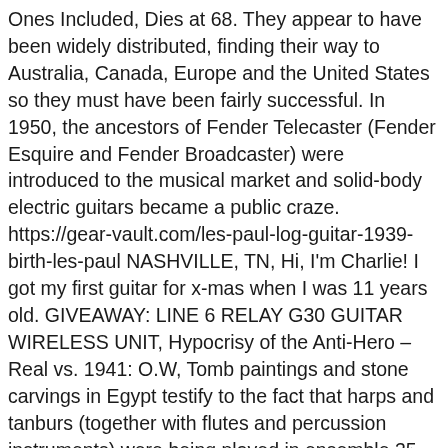Ones Included, Dies at 68. They appear to have been widely distributed, finding their way to Australia, Canada, Europe and the United States so they must have been fairly successful. In 1950, the ancestors of Fender Telecaster (Fender Esquire and Fender Broadcaster) were introduced to the musical market and solid-body electric guitars became a public craze. https://gear-vault.com/les-paul-log-guitar-1939-birth-les-paul NASHVILLE, TN, Hi, I'm Charlie! I got my first guitar for x-mas when I was 11 years old. GIVEAWAY: LINE 6 RELAY G30 GUITAR WIRELESS UNIT, Hypocrisy of the Anti-Hero – Real vs. 1941: O.W, Tomb paintings and stone carvings in Egypt testify to the fact that harps and tanburs (together with flutes and percussion instruments) were being played in ensemble 35... The Electric Guitar: A History of An American Icon (2004), edited by Andre Millard, explores the electric guitar's importance as an invention and its place in American culture. BB KING 1949 - 2012. He was one of the pioneers of the solid-body electric guitar, and his prototype, called the Log, served as inspiration for the Gibson Les Paul.